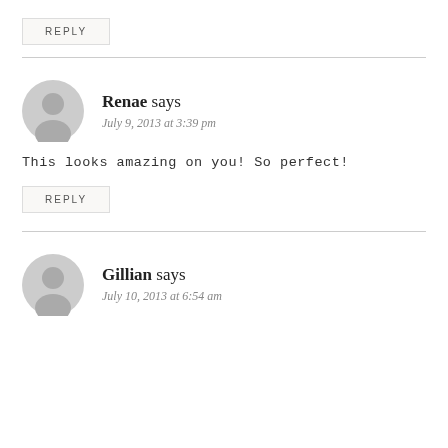REPLY
Renae says
July 9, 2013 at 3:39 pm
This looks amazing on you! So perfect!
REPLY
Gillian says
July 10, 2013 at 6:54 am